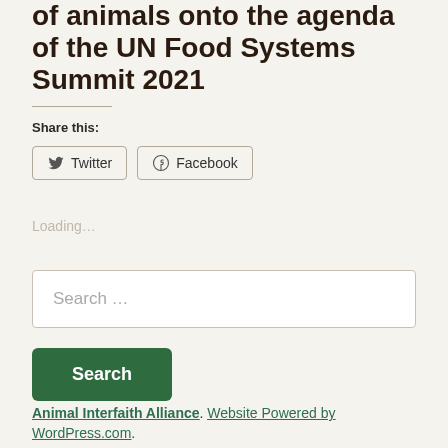of animals onto the agenda of the UN Food Systems Summit 2021
Share this:
Twitter  Facebook
Loading...
Search ...
Search
Animal Interfaith Alliance. Website Powered by WordPress.com.